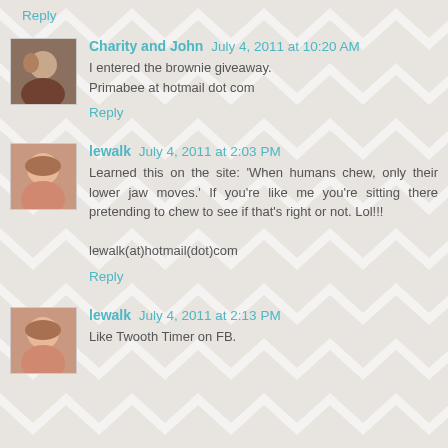Reply
Charity and John  July 4, 2011 at 10:20 AM
I entered the brownie giveaway.
Primabee at hotmail dot com
Reply
lewalk  July 4, 2011 at 2:03 PM
Learned this on the site: 'When humans chew, only their lower jaw moves.' If you're like me you're sitting there pretending to chew to see if that's right or not. Lol!!!

lewalk(at)hotmail(dot)com
Reply
lewalk  July 4, 2011 at 2:13 PM
Like Twooth Timer on FB.